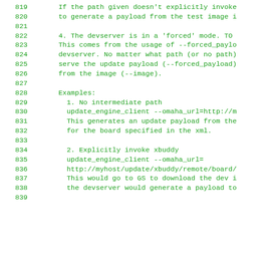819  If the path given doesn't explicitly invoke
820  to generate a payload from the test image i
821
822  4. The devserver is in a 'forced' mode. TO
823  This comes from the usage of --forced_paylo
824  devserver. No matter what path (or no path)
825  serve the update payload (--forced_payload)
826  from the image (--image).
827
828  Examples:
829    1. No intermediate path
830    update_engine_client --omaha_url=http://m
831    This generates an update payload from the
832    for the board specified in the xml.
833
834    2. Explicitly invoke xbuddy
835    update_engine_client --omaha_url=
836    http://myhost/update/xbuddy/remote/board/
837    This would go to GS to download the dev i
838    the devserver would generate a payload to
839